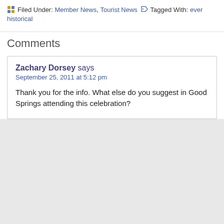Filed Under: Member News, Tourist News  Tagged With: ever historical
Comments
Zachary Dorsey says
September 25, 2011 at 5:12 pm
Thank you for the info. What else do you suggest in Good Springs attending this celebration?